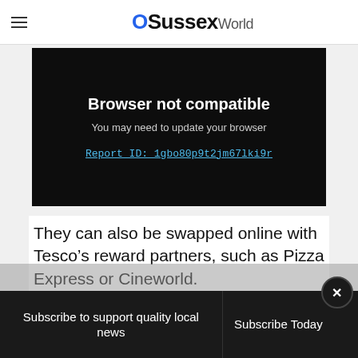OSussexWorld
[Figure (screenshot): Browser not compatible error panel on dark background. Text: 'Browser not compatible', 'You may need to update your browser', 'Report ID: 1gbo80p9t2jm67lki9r']
They can also be swapped online with Tesco’s reward partners, such as Pizza Express or Cineworld.
Subscribe to support quality local news | Subscribe Today